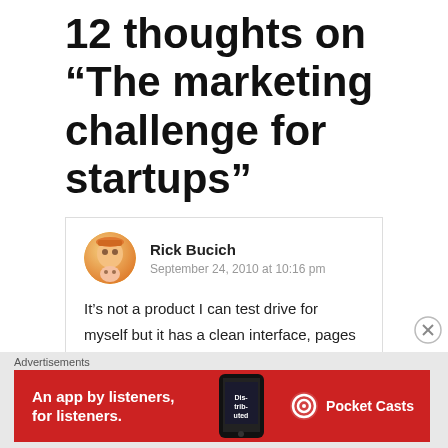12 thoughts on “The marketing challenge for startups”
Rick Bucich
September 24, 2010 at 10:16 pm

It’s not a product I can test drive for myself but it has a clean interface, pages seem to load quickly and is easy to navigate. I wish them luck!
[Figure (infographic): Pocket Casts advertisement banner: red background with white text 'An app by listeners, for listeners.' and Pocket Casts logo with a phone showing 'Distributed' podcast app]
Advertisements